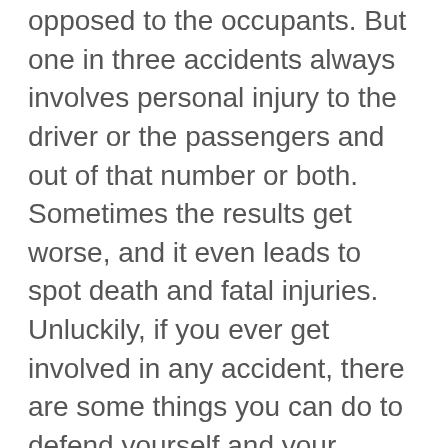opposed to the occupants. But one in three accidents always involves personal injury to the driver or the passengers and out of that number or both. Sometimes the results get worse, and it even leads to spot death and fatal injuries. Unluckily, if you ever get involved in any accident, there are some things you can do to defend yourself and your interests. The following is an inventory of the top ten things you should do if you are in an accident:
1. Try to stop at once: Never keep back yourself from the sight of a mishap, even in a small one.
2. Look after the scene: You can stop more accidents by setting up flares, or keeping your flashers on. If you find that it is shady and the lights are not working properly, you must have a flashlight with you so that it can keep you safe and you can wait in your car by the edge of the road.
3. Call the cops as early as possible: Although you hit upon no serious injuries, it's always better to have a